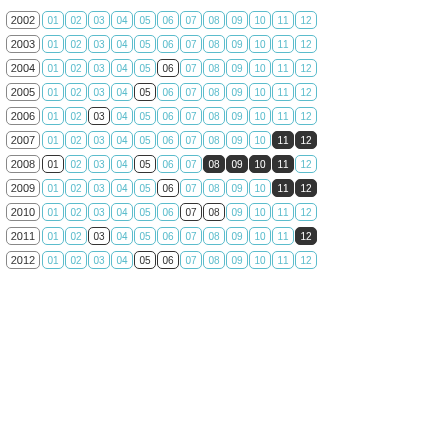2002: 01 02 03 04 05 06 07 08 09 10 11 12
2003: 01 02 03 04 05 06 07 08 09 10 11 12
2004: 01 02 03 04 05 [06 selected] 07 08 09 10 11 12
2005: 01 02 03 04 [05 selected] 06 07 08 09 10 11 12
2006: 01 02 [03 selected] 04 05 06 07 08 09 10 11 12
2007: 01 02 03 04 05 06 07 08 09 10 [11 12 selected]
2008: 01 02 03 04 [05] 06 07 [08 09 10 11 12 selected]
2009: 01 02 03 04 05 [06] 07 08 09 10 [11 12 selected]
2010: 01 02 03 04 05 06 [07 08 selected] 09 10 11 12
2011: 01 02 [03] 04 05 06 07 08 09 10 11 [12 selected]
2012: 01 02 03 04 [05] [06 selected] 07 08 09 10 11 12